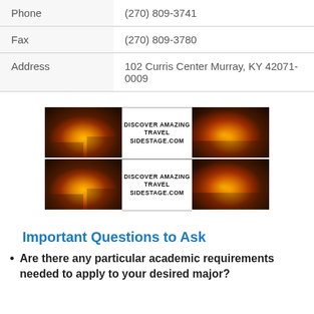| Phone | (270) 809-3741 |
| Fax | (270) 809-3780 |
| Address | 102 Curris Center Murray, KY 42071-0009 |
[Figure (illustration): Advertisement banner for sidestage.com travel site, shown twice (two rows). Each row shows two sunset/landscape images flanking text: DISCOVER AMAZING TRAVEL SIDESTAGE.COM]
Important Questions to Ask
Are there any particular academic requirements needed to apply to your desired major?